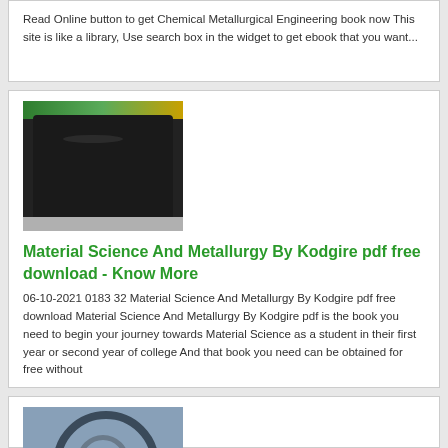Read Online button to get Chemical Metallurgical Engineering book now This site is like a library, Use search box in the widget to get ebook that you want...
[Figure (photo): Photo of a black cylindrical roll or coil of material, possibly a rubber or polymer sheet on a green and yellow background.]
Material Science And Metallurgy By Kodgire pdf free download - Know More
06-10-2021 0183 32 Material Science And Metallurgy By Kodgire pdf free download Material Science And Metallurgy By Kodgire pdf is the book you need to begin your journey towards Material Science as a student in their first year or second year of college And that book you need can be obtained for free without
[Figure (photo): Photo of metallic circular coils or rings, industrial metal parts, close-up view.]